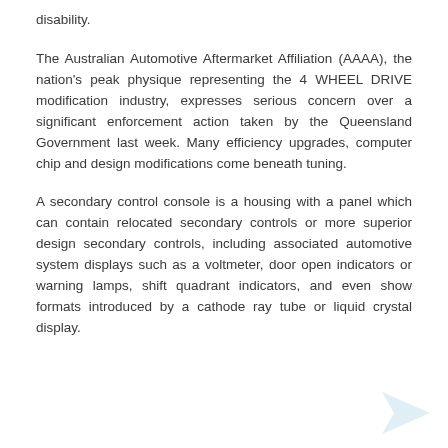disability.
The Australian Automotive Aftermarket Affiliation (AAAA), the nation's peak physique representing the 4 WHEEL DRIVE modification industry, expresses serious concern over a significant enforcement action taken by the Queensland Government last week. Many efficiency upgrades, computer chip and design modifications come beneath tuning.
A secondary control console is a housing with a panel which can contain relocated secondary controls or more superior design secondary controls, including associated automotive system displays such as a voltmeter, door open indicators or warning lamps, shift quadrant indicators, and even show formats introduced by a cathode ray tube or liquid crystal display.